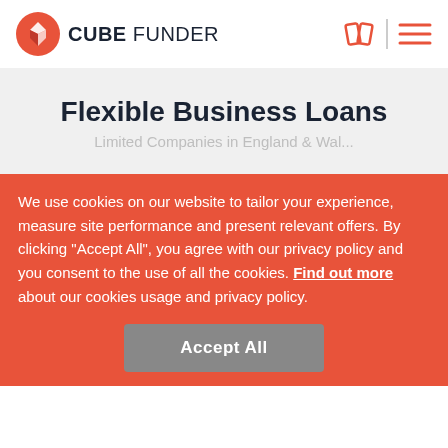CUBE FUNDER
Flexible Business Loans
We use cookies on our website to tailor your experience, measure site performance and present relevant offers. By clicking “Accept All”, you agree with our privacy policy and you consent to the use of all the cookies. Find out more about our cookies usage and privacy policy.